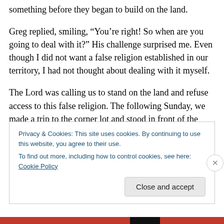something before they began to build on the land.
Greg replied, smiling, “You’re right! So when are you going to deal with it?” His challenge surprised me. Even though I did not want a false religion established in our territory, I had not thought about dealing with it myself.
The Lord was calling us to stand on the land and refuse access to this false religion. The following Sunday, we made a trip to the corner lot and stood in front of the sign. I asked Greg if he wanted to pray. He said: “You do it. I am here to agree with you as the Lord leads.”
Privacy & Cookies: This site uses cookies. By continuing to use this website, you agree to their use.
To find out more, including how to control cookies, see here: Cookie Policy
Close and accept